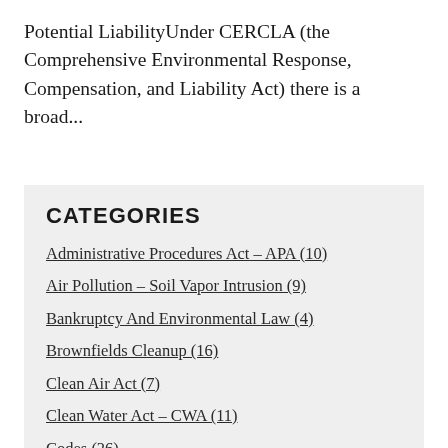Potential LiabilityUnder CERCLA (the Comprehensive Environmental Response, Compensation, and Liability Act) there is a broad...
CATEGORIES
Administrative Procedures Act – APA (10)
Air Pollution – Soil Vapor Intrusion (9)
Bankruptcy And Environmental Law (4)
Brownfields Cleanup (16)
Clean Air Act (7)
Clean Water Act – CWA (11)
Codes (26)